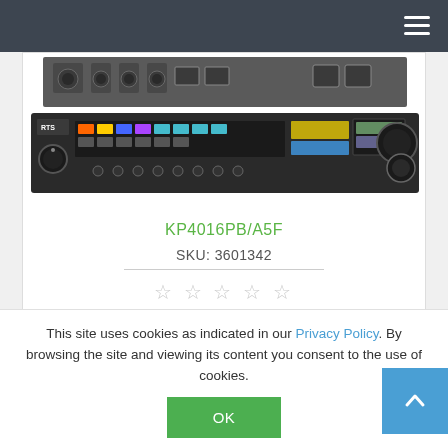[Figure (photo): Navigation bar with hamburger menu icon on dark background]
[Figure (photo): RTS KP4016PB/A5F audio intercom keypanel rack unit, front panel with colored buttons and controls]
KP4016PB/A5F
SKU: 3601342
☆ ☆ ☆ ☆ ☆
3.081,30 € excl tax
This site uses cookies as indicated in our Privacy Policy. By browsing the site and viewing its content you consent to the use of cookies.